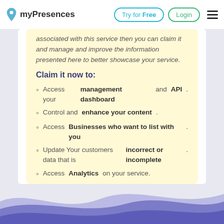myPresences | Try for Free | Login
associated with this service then you can claim it and manage and improve the information presented here to better showcase your service.
Claim it now to:
Access your management dashboard and API.
Control and enhance your content.
Access Businesses who want to list with you.
Update Your customers data that is incorrect or incomplete.
Access Analytics on your service.
Let proactive businesses know more about your service.